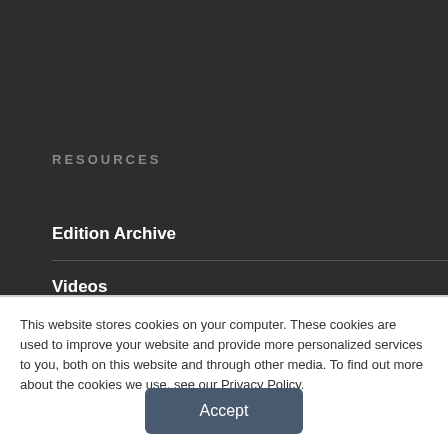RESOURCES
Edition Archive
Videos
Webinars
White Papers
This website stores cookies on your computer. These cookies are used to improve your website and provide more personalized services to you, both on this website and through other media. To find out more about the cookies we use, see our Privacy Policy.
Accept